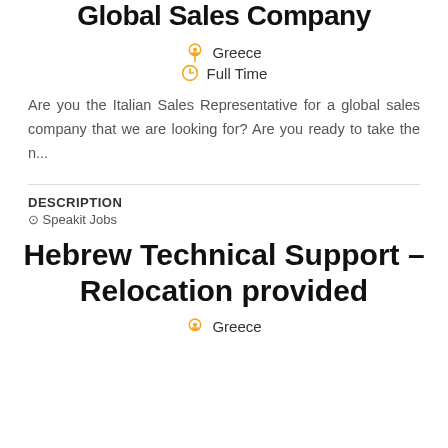Global Sales Company
Greece
Full Time
Are you the Italian Sales Representative for a global sales company that we are looking for? Are you ready to take the n...
DESCRIPTION
⊙ Speakit Jobs
Hebrew Technical Support – Relocation provided
Greece